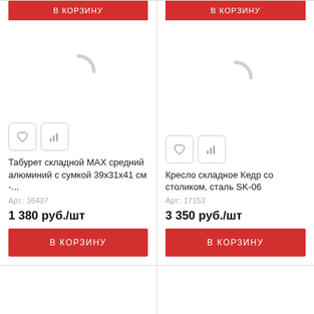[Figure (screenshot): Red 'В корзину' button top of left card (partially visible)]
[Figure (screenshot): Red 'В корзину' button top of right card (partially visible)]
[Figure (illustration): Loading spinner placeholder for product image - left card]
Табурет складной MAX средний алюминий с сумкой 39x31x41 см -...
Арт.: 16437
1 380 руб./шт
В КОРЗИНУ
[Figure (illustration): Loading spinner placeholder for product image - right card]
Кресло складное Кедр со столиком, сталь SK-06
Арт.: 17153
3 350 руб./шт
В КОРЗИНУ